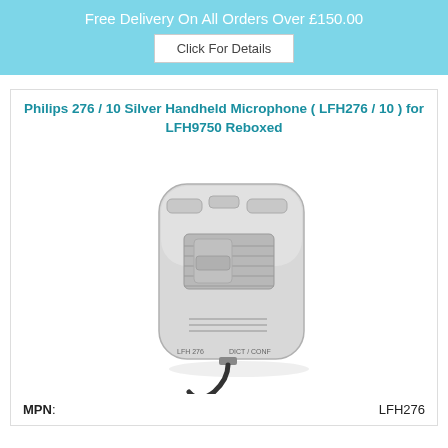Free Delivery On All Orders Over £150.00
Click For Details
Philips 276 / 10 Silver Handheld Microphone ( LFH276 / 10 ) for LFH9750 Reboxed
[Figure (photo): Silver Philips handheld microphone (LFH276/10) with black cable, labeled LFH 276 and DICT/CONF on the body]
MPN: LFH276